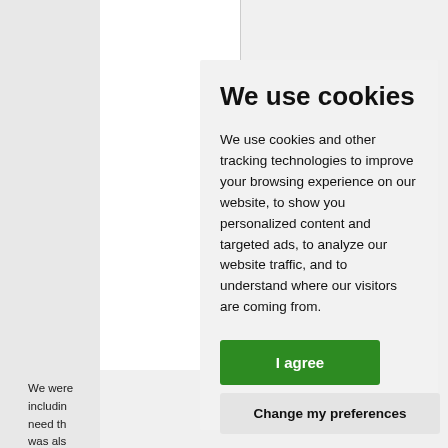We were including need the was also January. changed unless y called in Re build dated st QA signo glovebo: the conf find this one of th confirme
We use cookies
We use cookies and other tracking technologies to improve your browsing experience on our website, to show you personalized content and targeted ads, to analyze our website traffic, and to understand where our visitors are coming from.
I agree
Change my preferences